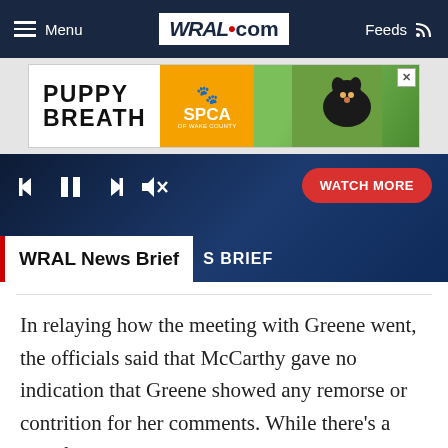Menu | WRAL.com | Feeds
[Figure (other): WRAL.com navigation bar with hamburger menu, WRAL.com logo, and Feeds icon on dark navy background]
[Figure (other): Advertisement banner: PUPPY BREATH with SPCA of Wake County logo and dog photo]
[Figure (other): Video player bar with playback controls (skip back, pause, skip forward, mute) and red WATCH MORE button, showing WRAL News Brief label]
In relaying how the meeting with Greene went, the officials said that McCarthy gave no indication that Greene showed any remorse or contrition for her comments. While there's a belief among GOP members